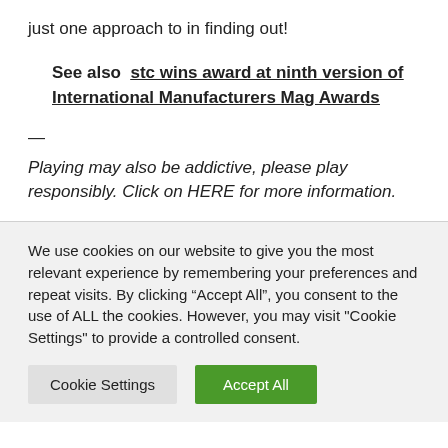just one approach to in finding out!
See also  stc wins award at ninth version of International Manufacturers Mag Awards
—
Playing may also be addictive, please play responsibly. Click on HERE for more information.
We use cookies on our website to give you the most relevant experience by remembering your preferences and repeat visits. By clicking “Accept All”, you consent to the use of ALL the cookies. However, you may visit "Cookie Settings" to provide a controlled consent.
Cookie Settings | Accept All